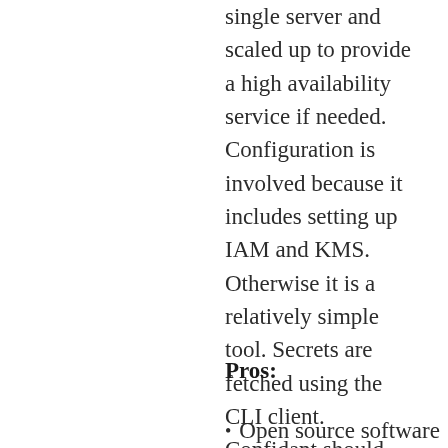single server and scaled up to provide a high availability service if needed. Configuration is involved because it includes setting up IAM and KMS. Otherwise it is a relatively simple tool. Secrets are fetched using the CLI client. Confidant should suite most businesses that run their infrastructure on AWS.
Pros:
Open source software